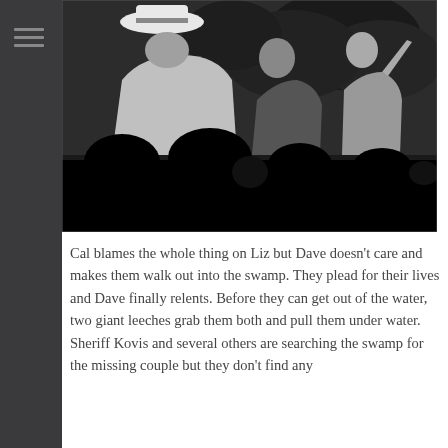[Figure (photo): Black and white movie screening photo showing silhouettes of audience members in the foreground watching a projected film scene with actors including a man in a white hat and other figures among foliage.]
Cal blames the whole thing on Liz but Dave doesn't care and makes them walk out into the swamp. They plead for their lives and Dave finally relents. Before they can get out of the water, two giant leeches grab them both and pull them under water.
Sheriff Kovis and several others are searching the swamp for the missing couple but they don't find any